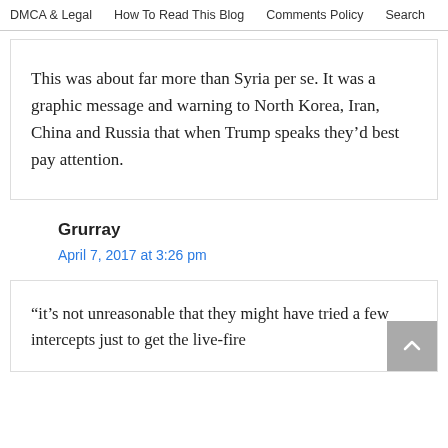DMCA & Legal  How To Read This Blog  Comments Policy  Search
This was about far more than Syria per se. It was a graphic message and warning to North Korea, Iran, China and Russia that when Trump speaks they’d best pay attention.
Grurray
April 7, 2017 at 3:26 pm
“it’s not unreasonable that they might have tried a few intercepts just to get the live-fire